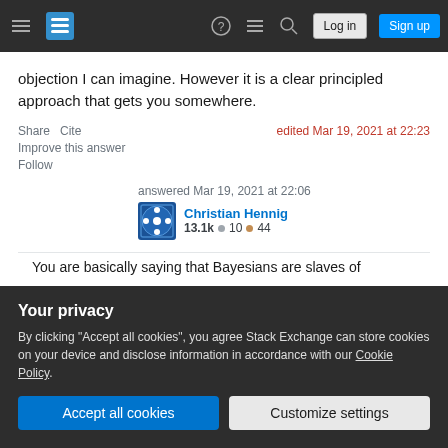Stack Exchange navigation bar with hamburger menu, logo, help, chat, search, Log in, Sign up buttons
objection I can imagine. However it is a clear principled approach that gets you somewhere.
Share   Cite
Improve this answer
Follow
edited Mar 19, 2021 at 22:23
answered Mar 19, 2021 at 22:06
Christian Hennig
13.1k  10  44
You are basically saying that Bayesians are slaves of
Your privacy
By clicking "Accept all cookies", you agree Stack Exchange can store cookies on your device and disclose information in accordance with our Cookie Policy.
Accept all cookies   Customize settings